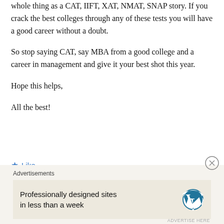whole thing as a CAT, IIFT, XAT, NMAT, SNAP story. If you crack the best colleges through any of these tests you will have a good career without a doubt.
So stop saying CAT, say MBA from a good college and a career in management and give it your best shot this year.
Hope this helps,
All the best!
★ Like
Reply
Akash Morwal
April 19, 2020
[Figure (other): Advertisement banner with WordPress logo: 'Professionally designed sites in less than a week']